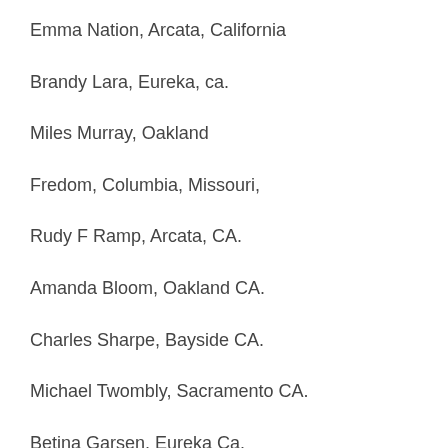Emma Nation, Arcata, California
Brandy Lara, Eureka, ca.
Miles Murray, Oakland
Fredom, Columbia, Missouri,
Rudy F Ramp, Arcata, CA.
Amanda Bloom, Oakland CA.
Charles Sharpe, Bayside CA.
Michael Twombly, Sacramento CA.
Betina Garsen, Eureka Ca.